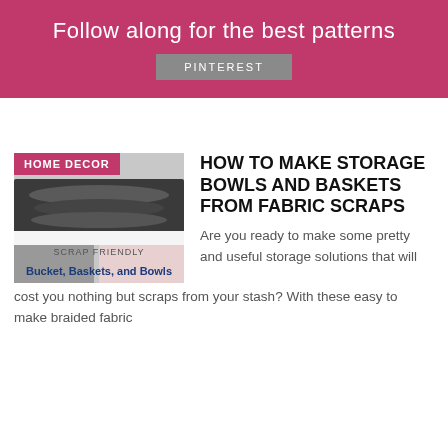Follow along for the best patterns
PINTEREST
[Figure (photo): Thumbnail image of braided fabric baskets and bowls with HOME DECOR badge and text 'SCRAP FRIENDLY Bucket, Baskets, and Bowls']
HOW TO MAKE STORAGE BOWLS AND BASKETS FROM FABRIC SCRAPS
Are you ready to make some pretty and useful storage solutions that will cost you nothing but scraps from your stash? With these easy to make braided fabric